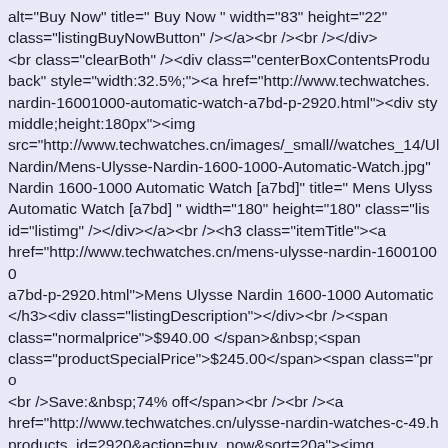alt="Buy Now" title=" Buy Now " width="83" height="22" class="listingBuyNowButton" /></a><br /><br /></div> <br class="clearBoth" /><div class="centerBoxContentsProducts back" style="width:32.5%;"><a href="http://www.techwatches. nardin-16001000-automatic-watch-a7bd-p-2920.html"><div sty middle;height:180px"><img src="http://www.techwatches.cn/images/_small//watches_14/Ul Nardin/Mens-Ulysse-Nardin-1600-1000-Automatic-Watch.jpg" Nardin 1600-1000 Automatic Watch [a7bd]" title=" Mens Ulyss Automatic Watch [a7bd] " width="180" height="180" class="lis id="listimg" /></div></a><br /><h3 class="itemTitle"><a href="http://www.techwatches.cn/mens-ulysse-nardin-16001000 a7bd-p-2920.html">Mens Ulysse Nardin 1600-1000 Automatic </h3><div class="listingDescription"></div><br /><span class="normalprice">$940.00 </span>&nbsp;<span class="productSpecialPrice">$245.00</span><span class="pro <br />Save:&nbsp;74% off</span><br /><br /><a href="http://www.techwatches.cn/ulysse-nardin-watches-c-49.h products_id=2920&action=buy_now&sort=20a"><img src="http://www.techwatches.cn/includes/templates/polo/button alt="Buy Now" title=" Buy Now " width="83" height="22" class="listingBuyNowButton" /></a><br /><br /></div> <div class="centerBoxContentsProducts centeredContent back" style="width:32.5%;"><a href="http://www.techwatches.cn/me 243927632-stainless-steel-bracelet-7b85-p-8166.html"><div st